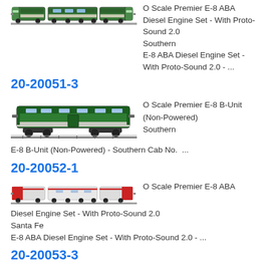O Scale Premier E-8 ABA Diesel Engine Set - With Proto-Sound 2.0 Southern E-8 ABA Diesel Engine Set - With Proto-Sound 2.0 - ...
20-20051-3
[Figure (photo): Green Southern railroad E-8 B-Unit locomotive model on track, side view]
O Scale Premier E-8 B-Unit (Non-Powered) Southern E-8 B-Unit (Non-Powered) - Southern Cab No. ...
20-20052-1
[Figure (photo): Santa Fe red and silver streamlined E-8 ABA diesel engine set model on track, side view]
O Scale Premier E-8 ABA Diesel Engine Set - With Proto-Sound 2.0 Santa Fe E-8 ABA Diesel Engine Set - With Proto-Sound 2.0 - ...
20-20053-3